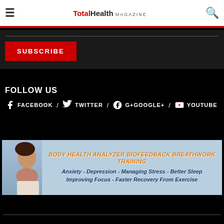TotalHealth MAGAZINE
SUBSCRIBE
FOLLOW US
f FACEBOOK / TWITTER / G+ GOOGLE+ / YOUTUBE
[Figure (infographic): Advertisement banner for Body Health Analyzer Biofeedback Breathwork Training. Shows woman looking up on left side with light blue background. Text: BODY HEALTH ANALYZER BIOFEEDBACK BREATHWORK TRAINING / Anxiety - Depression - Managing Stress - Better Sleep / Improving Focus - Faster Recovery From Exercise]